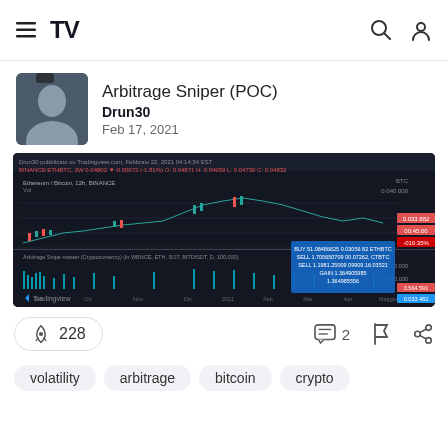TradingView navigation header with menu, logo, search, and user icons
Arbitrage Sniper (POC)
Drun30
Feb 17, 2021
[Figure (screenshot): TradingView chart screenshot showing Ethereum/Bitcoin 12h BINANCE candlestick chart with Arbitrage Sniper indicator overlay. Dark background with candlestick data, volume bars, and an indicator panel below. A tooltip popup shows trade details: BUY/SELL signals with gain information. Time axis shows Sep, Oct, Nov, Dec, 2021, Feb, Mar, Apr, Maggio.]
228
2
volatility
arbitrage
bitcoin
crypto